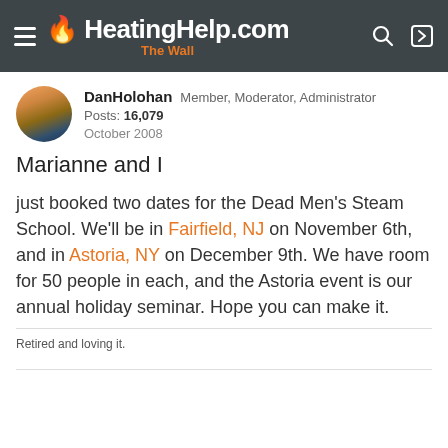HeatingHelp.com The Wall
DanHolohan  Member, Moderator, Administrator  Posts: 16,079  October 2008
Marianne and I
just booked two dates for the Dead Men's Steam School. We'll be in Fairfield, NJ on November 6th, and in Astoria, NY on December 9th. We have room for 50 people in each, and the Astoria event is our annual holiday seminar. Hope you can make it.
Retired and loving it.